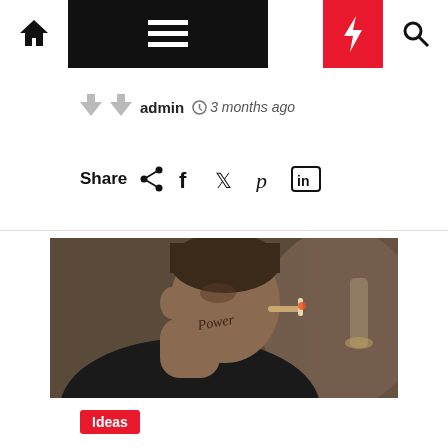Navigation bar with home icon, menu, moon/dark mode, bolt/trending, search icons
admin  3 months ago
Share
[Figure (photo): Side profile of a man in a black shirt with 'Power' tattoo on his jaw/cheek, smoking or drinking, blurred background]
Ideas
| Subtract and The 4 Trainees P...